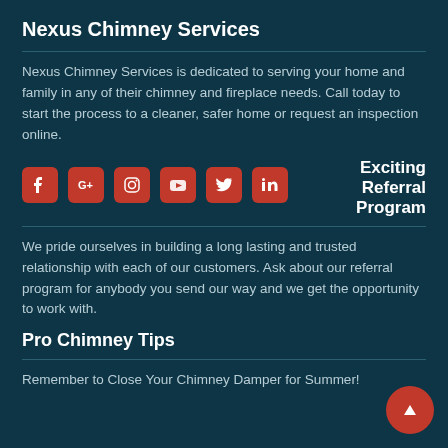Nexus Chimney Services
Nexus Chimney Services is dedicated to serving your home and family in any of their chimney and fireplace needs. Call today to start the process to a cleaner, safer home or request an inspection online.
[Figure (illustration): Row of social media icons (Facebook, Google+, Instagram, YouTube, Twitter, LinkedIn) in red rounded squares, followed by the text 'Exciting Referral Program' in white bold.]
We pride ourselves in building a long lasting and trusted relationship with each of our customers. Ask about our referral program for anybody you send our way and we get the opportunity to work with.
Pro Chimney Tips
Remember to Close Your Chimney Damper for Summer!